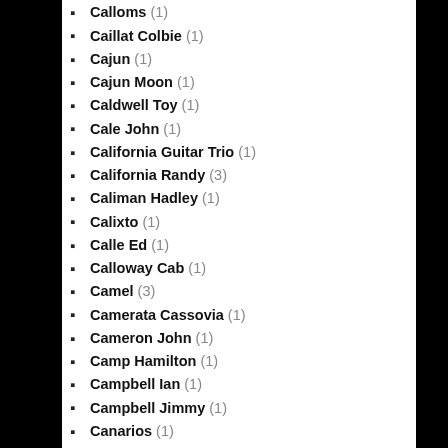Calloms (1)
Caillat Colbie (1)
Cajun (1)
Cajun Moon (1)
Caldwell Toy (1)
Cale John (1)
California Guitar Trio (1)
California Randy (3)
Caliman Hadley (1)
Calixto (1)
Calle Ed (1)
Calloway Cab (1)
Camel (3)
Camerata Cassovia (1)
Cameron John (1)
Camp Hamilton (1)
Campbell Ian (1)
Campbell Jimmy (1)
Canarios (1)
Cann John Du (1)
Canned Heat (13)
Canned Rock (1)